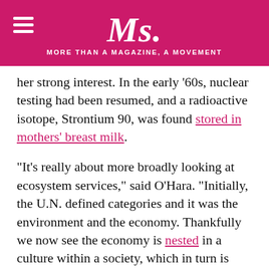Ms. MORE THAN A MAGAZINE, A MOVEMENT
her strong interest. In the early '60s, nuclear testing had been resumed, and a radioactive isotope, Strontium 90, was found stored in mothers' breast milk.
“It’s really about more broadly looking at ecosystem services,” said O’Hara. “Initially, the U.N. defined categories and it was the environment and the economy. Thankfully we now see the economy is nested in a culture within a society, which in turn is nested in the environment and nature.  Our communities are sinks; our families are too. So, what we’re running out of—maybe it’s not just the resources diminishing, but we’re running out of the sink capacities, too. The planet is running out of its